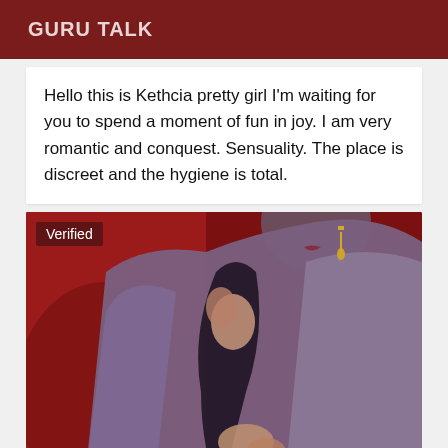GURU TALK
Hello this is Kethcia pretty girl I'm waiting for you to spend a moment of fun in joy. I am very romantic and conquest. Sensuality. The place is discreet and the hygiene is total.
[Figure (photo): A woman wearing a purple/mauve satin robe against a red background. A 'Verified' badge appears in the top-left corner of the photo.]